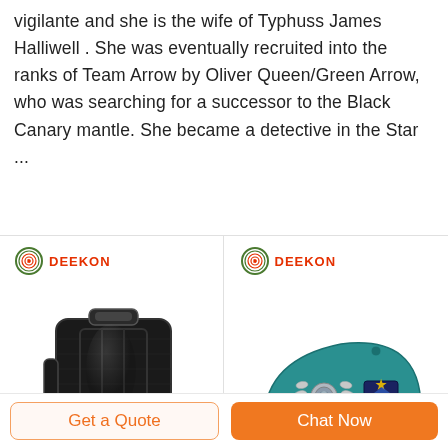vigilante and she is the wife of Typhuss James Halliwell . She was eventually recruited into the ranks of Team Arrow by Oliver Queen/Green Arrow, who was searching for a successor to the Black Canary mantle. She became a detective in the Star ...
[Figure (photo): Two product images side by side with DEEKON branding. Left: a black hard-shell rolling suitcase. Right: a teal military beret with silver badge and patch.]